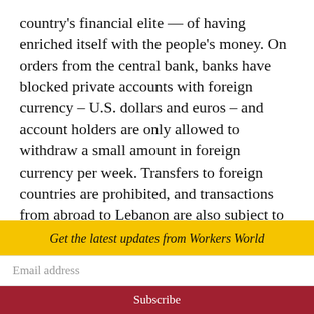country's financial elite — of having enriched itself with the people's money. On orders from the central bank, banks have blocked private accounts with foreign currency – U.S. dollars and euros – and account holders are only allowed to withdraw a small amount in foreign currency per week. Transfers to foreign countries are prohibited, and transactions from abroad to Lebanon are also subject to the withdrawal ban.
The Lebanese pound, which was previousl
Get the latest updates from Workers World
Email address
Subscribe